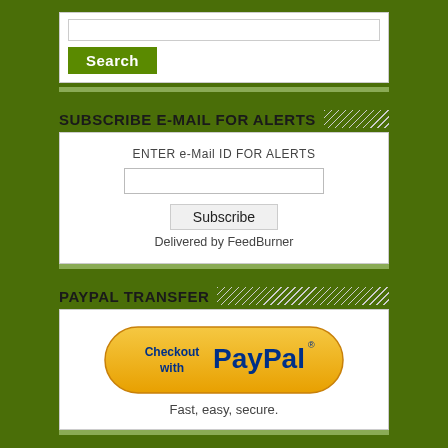[Figure (screenshot): Search input box with a green Search button]
SUBSCRIBE E-MAIL FOR ALERTS
[Figure (screenshot): Email subscription form with input field, Subscribe button, and 'Delivered by FeedBurner' text]
PAYPAL TRANSFER
[Figure (screenshot): PayPal checkout button with 'Checkout with PayPal' and 'Fast, easy, secure.' text]